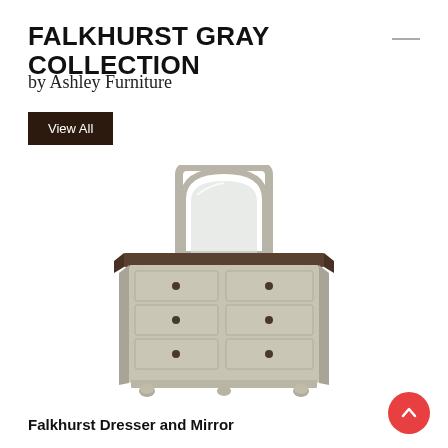FALKHURST GRAY COLLECTION
by Ashley Furniture
View All
[Figure (photo): Falkhurst gray dresser with mirror — a wide 6-drawer dresser in gray finish with dark top and ornate drawer pulls, topped with an arched decorative mirror with gray frame]
Falkhurst Dresser and Mirror